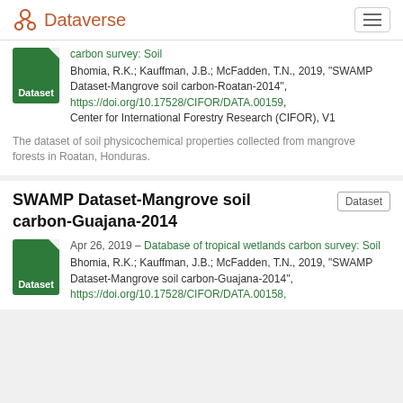Dataverse
Apr 26, 2019 – Database of tropical wetlands carbon survey: Soil
Bhomia, R.K.; Kauffman, J.B.; McFadden, T.N., 2019, "SWAMP Dataset-Mangrove soil carbon-Roatan-2014", https://doi.org/10.17528/CIFOR/DATA.00159, Center for International Forestry Research (CIFOR), V1
The dataset of soil physicochemical properties collected from mangrove forests in Roatan, Honduras.
SWAMP Dataset-Mangrove soil carbon-Guajana-2014
Apr 26, 2019 – Database of tropical wetlands carbon survey: Soil
Bhomia, R.K.; Kauffman, J.B.; McFadden, T.N., 2019, "SWAMP Dataset-Mangrove soil carbon-Guajana-2014", https://doi.org/10.17528/CIFOR/DATA.00158,